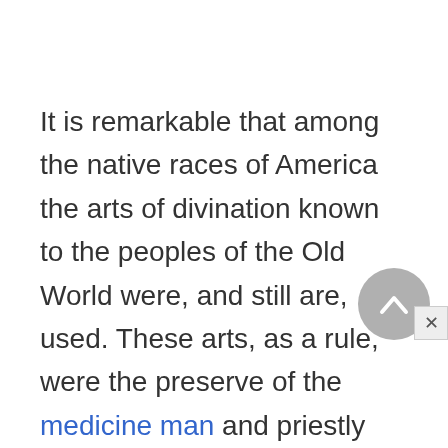It is remarkable that among the native races of America the arts of divination known to the peoples of the Old World were, and still are, used. These arts, as a rule, were the preserve of the medicine man and priestly class. In ancient Mexico there was a college of augurs like the auspices of ancient Rome; the members occupied themselves with observing the flight of